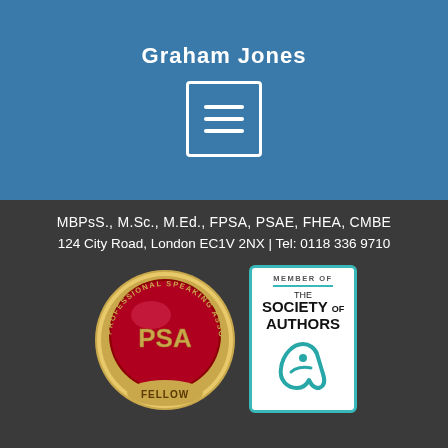Graham Jones
[Figure (logo): Menu/hamburger icon — three horizontal white lines in a white-bordered square]
MBPsS., M.Sc., M.Ed., FPSA, PSAE, FHEA, CMBE
124 City Road, London EC1V 2NX | Tel: 0118 336 9710
[Figure (logo): Professional Speaking Association Fellow badge — circular gold badge with red microphone center, text 'PROFESSIONAL SPEAKING ASSOCIATION' around edge, 'PSA' in gold center, 'FELLOW' at bottom]
[Figure (logo): Member of The Society of Authors badge — white rectangle with teal border, 'MEMBER OF' text, teal line, 'THE SOCIETY OF AUTHORS' text, and teal stylized 'A' ampersand logo]